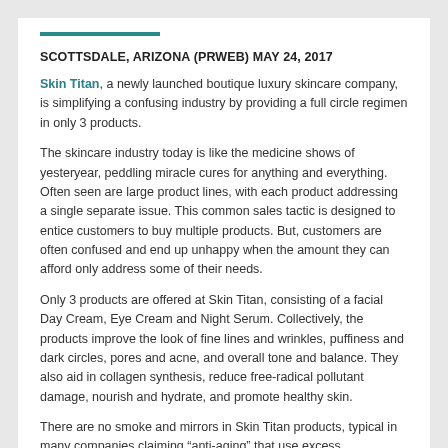SCOTTSDALE, ARIZONA (PRWEB) MAY 24, 2017
Skin Titan, a newly launched boutique luxury skincare company, is simplifying a confusing industry by providing a full circle regimen in only 3 products.
The skincare industry today is like the medicine shows of yesteryear, peddling miracle cures for anything and everything. Often seen are large product lines, with each product addressing a single separate issue. This common sales tactic is designed to entice customers to buy multiple products. But, customers are often confused and end up unhappy when the amount they can afford only address some of their needs.
Only 3 products are offered at Skin Titan, consisting of a facial Day Cream, Eye Cream and Night Serum. Collectively, the products improve the look of fine lines and wrinkles, puffiness and dark circles, pores and acne, and overall tone and balance. They also aid in collagen synthesis, reduce free-radical pollutant damage, nourish and hydrate, and promote healthy skin.
There are no smoke and mirrors in Skin Titan products, typical in many companies claiming “anti-aging” that use excess